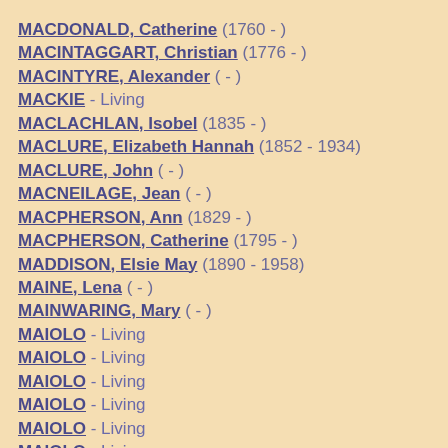MACDONALD, Catherine (1760 - )
MACINTAGGART, Christian (1776 - )
MACINTYRE, Alexander ( - )
MACKIE - Living
MACLACHLAN, Isobel (1835 - )
MACLURE, Elizabeth Hannah (1852 - 1934)
MACLURE, John ( - )
MACNEILAGE, Jean ( - )
MACPHERSON, Ann (1829 - )
MACPHERSON, Catherine (1795 - )
MADDISON, Elsie May (1890 - 1958)
MAINE, Lena ( - )
MAINWARING, Mary ( - )
MAIOLO - Living
MAIOLO - Living
MAIOLO - Living
MAIOLO - Living
MAIOLO - Living
MAIOLO - Living
MAIOLO - Living